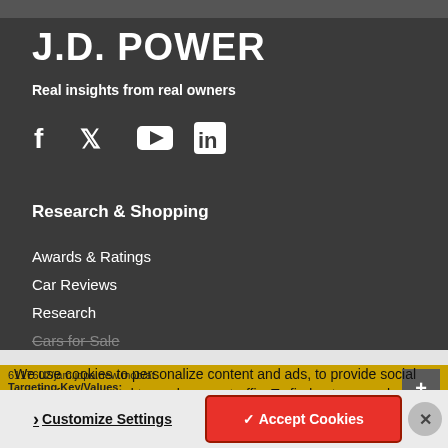J.D. POWER
Real insights from real owners
[Figure (illustration): Social media icons: Facebook, Twitter, YouTube, LinkedIn]
Research & Shopping
Awards & Ratings
Car Reviews
Research
Cars for Sale
We use cookies to personalize content and ads, to provide social media media features and to analyze our traffic. To find out more, please visit our privacy policy or click "Customize Settings".
Customize Settings  ✓ Accept Cookies